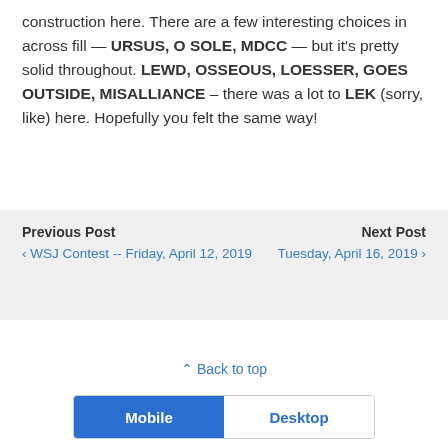construction here.  There are a few interesting choices in across fill — URSUS, O SOLE, MDCC — but it's pretty solid throughout.  LEWD, OSSEOUS, LOESSER, GOES OUTSIDE, MISALLIANCE – there was a lot to LEK (sorry, like) here.  Hopefully you felt the same way!
Previous Post
‹ WSJ Contest -- Friday, April 12, 2019
Next Post
Tuesday, April 16, 2019 ›
⇧ Back to top
Mobile | Desktop